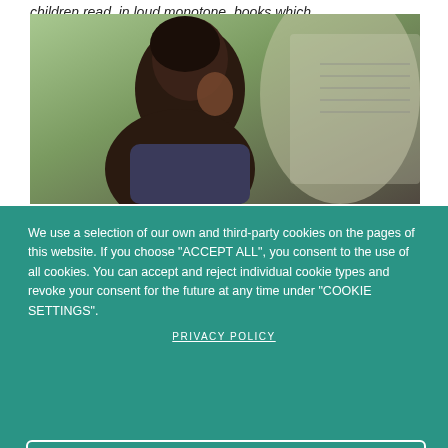children read, in loud monotone, books which...
[Figure (photo): A child (young girl, dark hair, profile view) sitting and reading, with a book or sheet music visible in the background. Blurred background with green and warm tones.]
We use a selection of our own and third-party cookies on the pages of this website. If you choose "ACCEPT ALL", you consent to the use of all cookies. You can accept and reject individual cookie types and revoke your consent for the future at any time under "COOKIE SETTINGS".
PRIVACY POLICY
COOKIE SETTINGS
DENY ALL
ACCEPT ALL